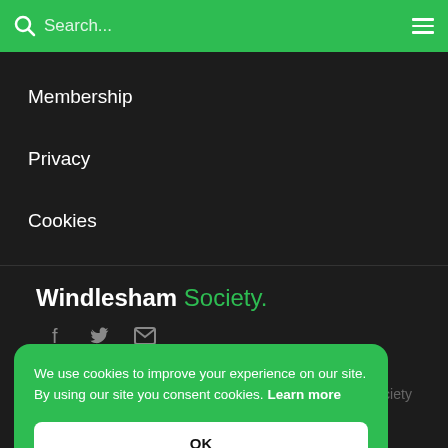Search...
Membership
Privacy
Cookies
Windlesham Society.
[Figure (other): Social media icons: Facebook, Twitter, Email]
Society
We use cookies to improve your experience on our site. By using our site you consent cookies. Learn more
OK